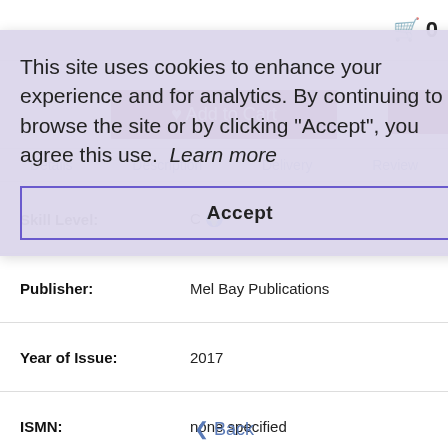0
This site uses cookies to enhance your experience and for analytics. By continuing to browse the site or by clicking "Accept", you agree this use.  Learn more
Accept
Details  Description  Delivery  Review
| Field | Value |
| --- | --- |
| Skill Level: | C |
| Publisher: | Mel Bay Publications |
| Year of Issue: | 2017 |
| ISMN: | none specified |
| ISBN: | 9780786616251 |
‹ Back